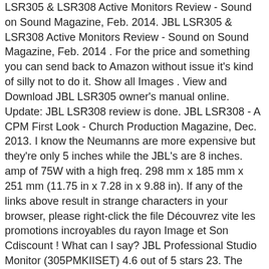LSR305 & LSR308 Active Monitors Review - Sound on Sound Magazine, Feb. 2014. JBL LSR305 & LSR308 Active Monitors Review - Sound on Sound Magazine, Feb. 2014 . For the price and something you can send back to Amazon without issue it's kind of silly not to do it. Show all Images . View and Download JBL LSR305 owner's manual online. Update: JBL LSR308 review is done. JBL LSR308 - A CPM First Look - Church Production Magazine, Dec. 2013. I know the Neumanns are more expensive but they're only 5 inches while the JBL's are 8 inches. amp of 75W with a high freq. 298 mm x 185 mm x 251 mm (11.75 in x 7.28 in x 9.88 in). If any of the links above result in strange characters in your browser, please right-click the file Découvrez vite les promotions incroyables du rayon Image et Son Cdiscount ! What can I say? JBL Professional Studio Monitor (305PMKIISET) 4.6 out of 5 stars 23. The LSR310S subwoofer incorporates JBL's patented Slip Stream™ Port working in concert with a custom 10" down-firing driver and a 200 Watt amplifier to add deep, powerful bass to any studio monitor system. If you are a budding music